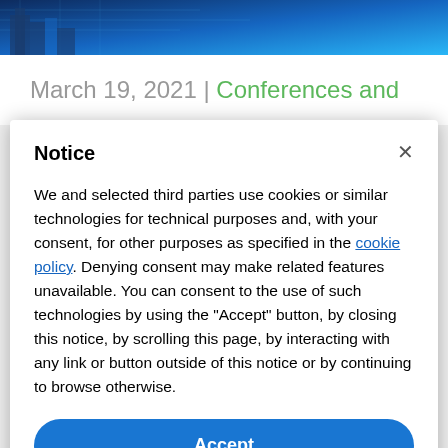[Figure (photo): Blue tech/city themed banner image at top of page]
March 19, 2021 | Conferences and
Notice
We and selected third parties use cookies or similar technologies for technical purposes and, with your consent, for other purposes as specified in the cookie policy. Denying consent may make related features unavailable. You can consent to the use of such technologies by using the "Accept" button, by closing this notice, by scrolling this page, by interacting with any link or button outside of this notice or by continuing to browse otherwise.
Accept
Learn more and customize